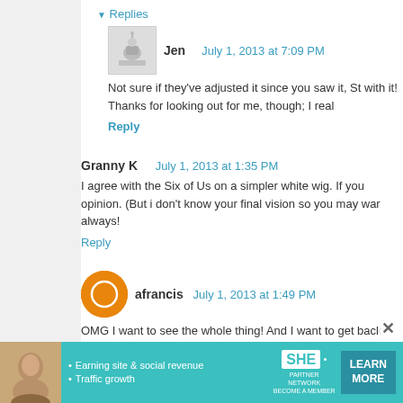▼ Replies
Jen  July 1, 2013 at 7:09 PM
Not sure if they've adjusted it since you saw it, St with it! Thanks for looking out for me, though; I real
Reply
Granny K  July 1, 2013 at 1:35 PM
I agree with the Six of Us on a simpler white wig. If you opinion. (But i don't know your final vision so you may war always!
Reply
afrancis  July 1, 2013 at 1:49 PM
OMG I want to see the whole thing! And I want to get back (AKA making my entire house look like it belongs on Pinter C)not as stark if you went with a fascinator. I'm seeing you some gold/white faux braids clipped in or those cyber of things in individually, I've another idea further down
[Figure (infographic): Advertisement banner for SHE Partner Network featuring a woman's photo, bullet points about Earning site & social revenue and Traffic growth, the SHE logo, and a teal Learn More button]